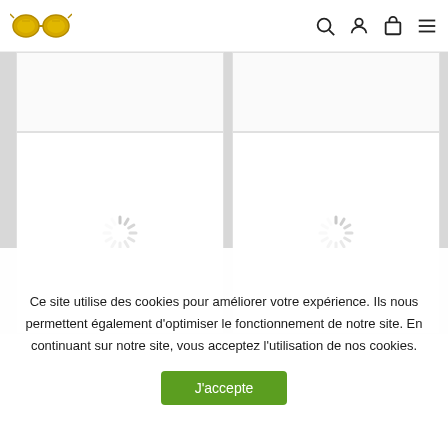[Figure (logo): Yellow cat-eye glasses logo in top left navigation]
[Figure (infographic): Product grid with 4 cells (2x2), two showing loading spinners; gray background separating columns]
Ce site utilise des cookies pour améliorer votre expérience. Ils nous permettent également d'optimiser le fonctionnement de notre site. En continuant sur notre site, vous acceptez l'utilisation de nos cookies.
J'accepte